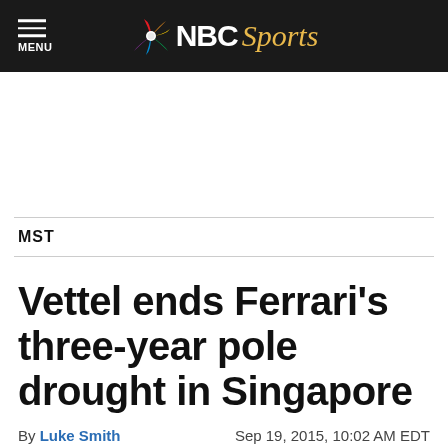NBC Sports — MENU
MST
Vettel ends Ferrari's three-year pole drought in Singapore
By Luke Smith   Sep 19, 2015, 10:02 AM EDT